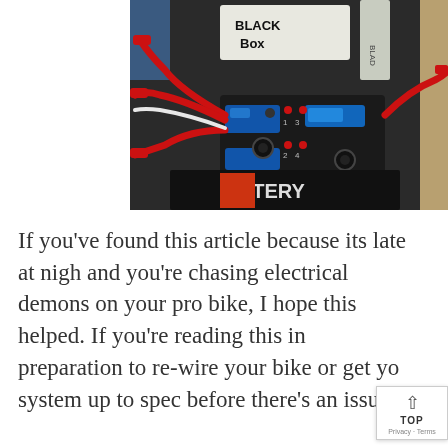[Figure (photo): Close-up photo of a motorcycle electrical component — a black box device with red wiring harness connectors, numbered ports (1, 2, 3, 4), blue connectors, and red LED indicators, mounted on a surface near a battery labeled 'BATTERY'. A label on the device reads 'BLACK Box'.]
If you've found this article because its late at night and you're chasing electrical demons on your project bike, I hope this helped. If you're reading this in preparation to re-wire your bike or get your system up to spec before there's an issue,